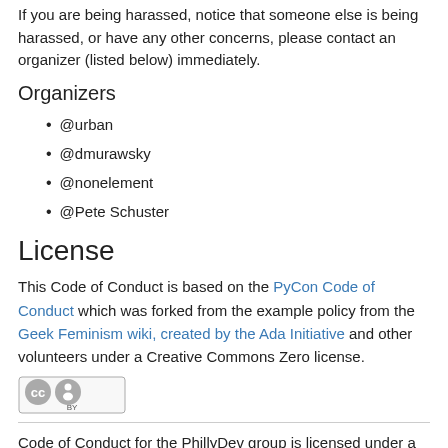If you are being harassed, notice that someone else is being harassed, or have any other concerns, please contact an organizer (listed below) immediately.
Organizers
@urban
@dmurawsky
@nonelement
@Pete Schuster
License
This Code of Conduct is based on the PyCon Code of Conduct which was forked from the example policy from the Geek Feminism wiki, created by the Ada Initiative and other volunteers under a Creative Commons Zero license.
[Figure (logo): Creative Commons CC BY license badge]
Code of Conduct for the PhillyDev group is licensed under a Creative Commons Attribution 3.0 Unported License .